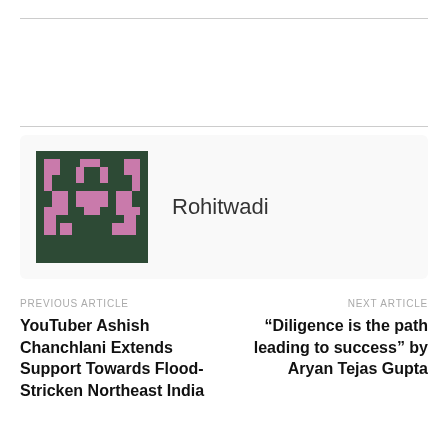[Figure (logo): Author avatar: pixel art / retro game character on dark green background with pink/mauve pixels, square image for author Rohitwadi]
Rohitwadi
PREVIOUS ARTICLE
YouTuber Ashish Chanchlani Extends Support Towards Flood-Stricken Northeast India
NEXT ARTICLE
“Diligence is the path leading to success” by Aryan Tejas Gupta